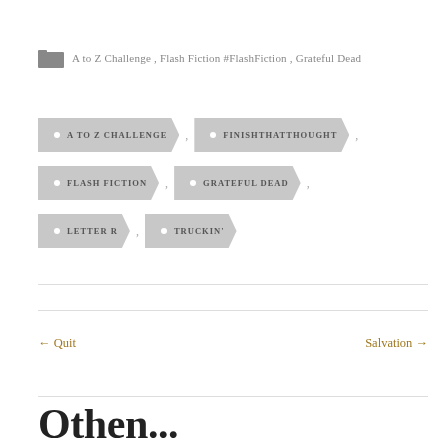A to Z Challenge, Flash Fiction #FlashFiction, Grateful Dead
A TO Z CHALLENGE
FINISHTHATTHOUGHT
FLASH FICTION
GRATEFUL DEAD
LETTER R
TRUCKIN'
← Quit   Salvation →
Othen...